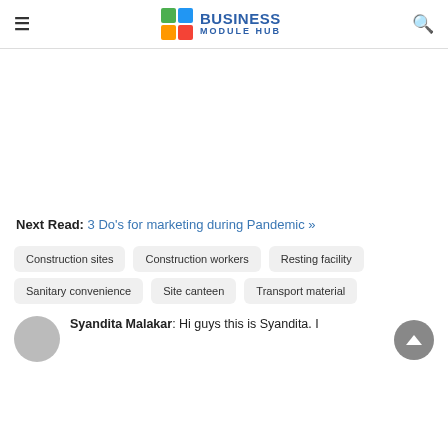Business Module Hub
Next Read: 3 Do's for marketing during Pandemic »
Construction sites
Construction workers
Resting facility
Sanitary convenience
Site canteen
Transport material
Syandita Malakar: Hi guys this is Syandita. I